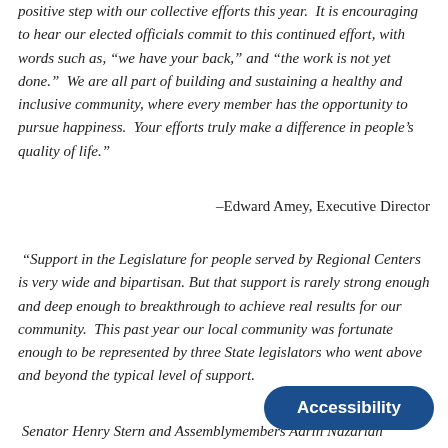positive step with our collective efforts this year.  It is encouraging to hear our elected officials commit to this continued effort, with words such as, “we have your back,” and “the work is not yet done.”  We are all part of building and sustaining a healthy and inclusive community, where every member has the opportunity to pursue happiness.  Your efforts truly make a difference in people’s quality of life.”
–Edward Amey, Executive Director
“Support in the Legislature for people served by Regional Centers is very wide and bipartisan. But that support is rarely strong enough and deep enough to breakthrough to achieve real results for our community.  This past year our local community was fortunate enough to be represented by three State legislators who went above and beyond the typical level of support.
Senator Henry Stern and Assemblymembers Adrin Nazarian